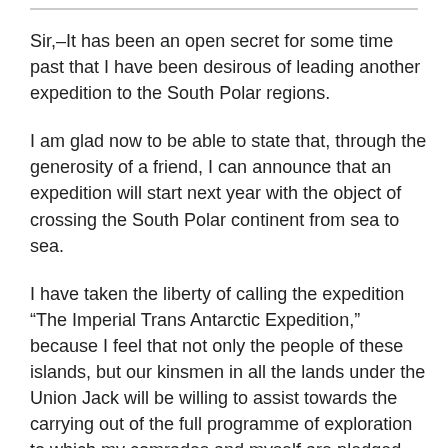Sir,–It has been an open secret for some time past that I have been desirous of leading another expedition to the South Polar regions.
I am glad now to be able to state that, through the generosity of a friend, I can announce that an expedition will start next year with the object of crossing the South Polar continent from sea to sea.
I have taken the liberty of calling the expedition “The Imperial Trans Antarctic Expedition,” because I feel that not only the people of these islands, but our kinsmen in all the lands under the Union Jack will be willing to assist towards the carrying out of the full programme of exploration to which my comrades and myself are pledged.
Yours faithfully,